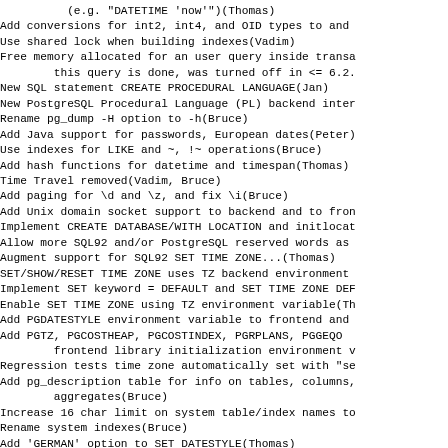(e.g. "DATETIME 'now'")(Thomas)
Add conversions for int2, int4, and OID types to and
Use shared lock when building indexes(Vadim)
Free memory allocated for an user query inside transa
        this query is done, was turned off in <= 6.2.
New SQL statement CREATE PROCEDURAL LANGUAGE(Jan)
New PostgreSQL Procedural Language (PL) backend inter
Rename pg_dump -H option to -h(Bruce)
Add Java support for passwords, European dates(Peter)
Use indexes for LIKE and ~, !~ operations(Bruce)
Add hash functions for datetime and timespan(Thomas)
Time Travel removed(Vadim, Bruce)
Add paging for \d and \z, and fix \i(Bruce)
Add Unix domain socket support to backend and to fron
Implement CREATE DATABASE/WITH LOCATION and initlocat
Allow more SQL92 and/or PostgreSQL reserved words as
Augment support for SQL92 SET TIME ZONE...(Thomas)
SET/SHOW/RESET TIME ZONE uses TZ backend environment
Implement SET keyword = DEFAULT and SET TIME ZONE DEF
Enable SET TIME ZONE using TZ environment variable(Th
Add PGDATESTYLE environment variable to frontend and
Add PGTZ, PGCOSTHEAP, PGCOSTINDEX, PGRPLANS, PGGEQO
        frontend library initialization environment v
Regression tests time zone automatically set with "se
Add pg_description table for info on tables, columns,
        aggregates(Bruce)
Increase 16 char limit on system table/index names to
Rename system indexes(Bruce)
Add 'GERMAN' option to SET DATESTYLE(Thomas)
Define an "ISO-style" timespan output format with "h